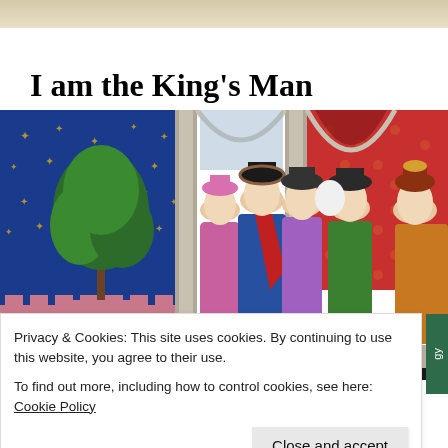I am the King's Man
[Figure (illustration): Medieval illuminated manuscript image showing a group of courtiers or scholars in colorful robes (blue, red, pink, green) wearing black hats, standing under Gothic arches, with a tree in a garden setting against a blue starry background on the left.]
Privacy & Cookies: This site uses cookies. By continuing to use this website, you agree to their use.
To find out more, including how to control cookies, see here: Cookie Policy
Close and accept
The Legacy of Idealism